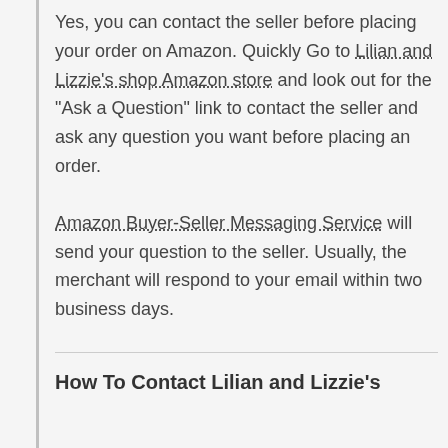Yes, you can contact the seller before placing your order on Amazon. Quickly Go to Lilian and Lizzie's shop Amazon store and look out for the "Ask a Question" link to contact the seller and ask any question you want before placing an order.
Amazon Buyer-Seller Messaging Service will send your question to the seller. Usually, the merchant will respond to your email within two business days.
How To Contact Lilian and Lizzie's